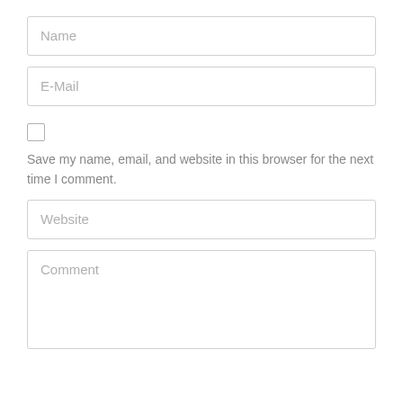[Figure (screenshot): A web comment form with input fields for Name, E-Mail, Website, and Comment, plus a checkbox with label 'Save my name, email, and website in this browser for the next time I comment.']